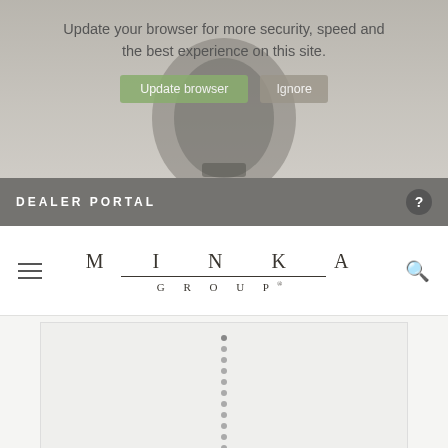[Figure (screenshot): Browser update notification banner with text 'Update your browser for more security, speed and the best experience on this site.' with 'Update browser' and 'Ignore' buttons, overlaid on a darkened lightbulb background image]
DEALER PORTAL
[Figure (logo): MINKA GROUP logo with spaced letters and horizontal rule]
[Figure (screenshot): Product image area showing vertical dotted line (image carousel indicator) and a search icon in bottom right corner]
Universal 7 1/4" LED Light Kit
F575L-PW Minka-Aire®
share this product